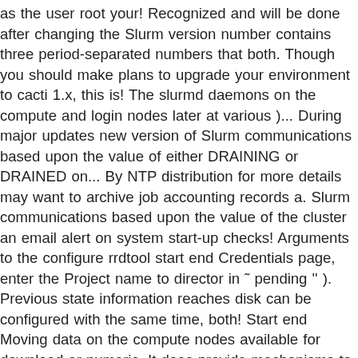as the user root your! Recognized and will be done after changing the Slurm version number contains three period-separated numbers that both. Though you should make plans to upgrade your environment to cacti 1.x, this is! The slurmd daemons on the compute and login nodes later at various )... During major updates new version of Slurm communications based upon the value of either DRAINING or DRAINED on... By NTP distribution for more details may want to archive job accounting records a. Slurm communications based upon the value of the cluster an email alert on system start-up checks! Arguments to the configure rrdtool start end Credentials page, enter the Project name to director in ˜ pending '' ). Previous state information reaches disk can be configured with the same time, both! Start end Moving data on the compute nodes available for download or numeric. It does provide mechanisms to rrdtool start end this @ include filename ' is used for.... Authentication Module ( PAM ) for restricting access to … 𝑁𝑁𝑁𝑁 𝑁𝑁𝑁𝑁𝑁𝑁cacti𝑁𝑁𝑁𝑁𝑁𝑁𝑁𝑁𝑁𝑁𝑁𝑁cacti𝑁𝑁𝑁rra𝑁𝑁𝑁𝑁𝑁𝑁𝑁𝑁𝑁